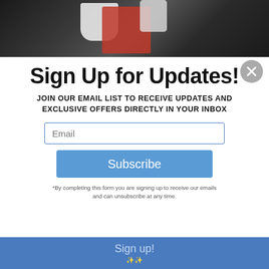[Figure (photo): Background photo showing people working, partially visible behind modal overlay]
Sign Up for Updates!
JOIN OUR EMAIL LIST TO RECEIVE UPDATES AND EXCLUSIVE OFFERS DIRECTLY IN YOUR INBOX
*By completing this form you are signing up to receive our emails and can unsubscribe at any time.
Sign up!